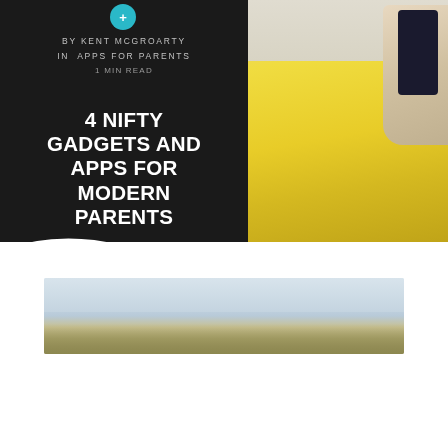[Figure (photo): Article header banner with dark left panel containing author info and article title, and right panel showing a person holding a phone against a yellow flower field background]
BY KENT MCGROARTY
IN  APPS FOR PARENTS
1 MIN READ
4 NIFTY GADGETS AND APPS FOR MODERN PARENTS
[Figure (photo): Landscape photo showing a field with pale sky, blurred outdoor scene]